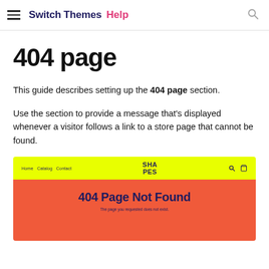Switch Themes Help
404 page
This guide describes setting up the 404 page section.
Use the section to provide a message that's displayed whenever a visitor follows a link to a store page that cannot be found.
[Figure (screenshot): Preview of a 404 Page Not Found screen with yellow navigation bar showing 'SHAPES' logo and links, and an orange/red body area with bold navy text '404 Page Not Found' and smaller subtitle text 'The page you requested does not exist.']